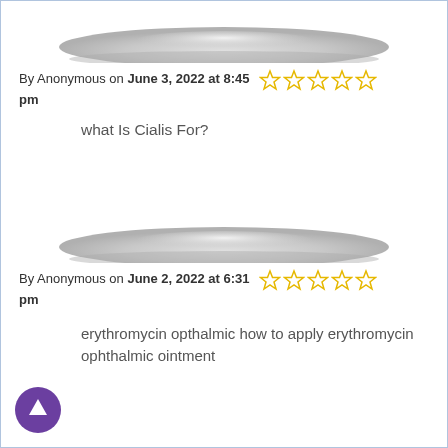[Figure (illustration): Greyed out avatar/user silhouette bar shape for anonymous user, first review]
By Anonymous on June 3, 2022 at 8:45 pm ☆☆☆☆☆
what Is Cialis For?
[Figure (illustration): Greyed out avatar/user silhouette bar shape for anonymous user, second review]
By Anonymous on June 2, 2022 at 6:31 pm ☆☆☆☆☆
erythromycin opthalmic how to apply erythromycin ophthalmic ointment